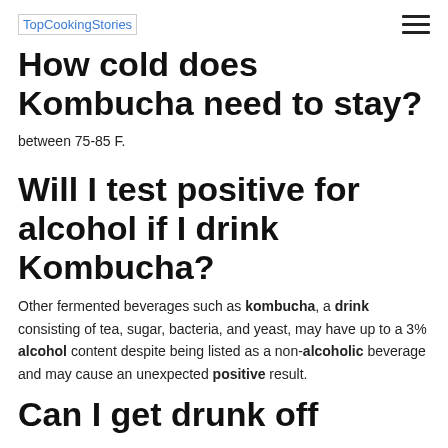TopCookingStories
How cold does Kombucha need to stay?
between 75-85 F.
Will I test positive for alcohol if I drink Kombucha?
Other fermented beverages such as kombucha, a drink consisting of tea, sugar, bacteria, and yeast, may have up to a 3% alcohol content despite being listed as a non-alcoholic beverage and may cause an unexpected positive result.
Can I get drunk off